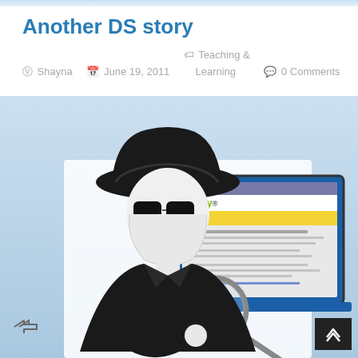Another DS story
Shayna   June 19, 2011   Teaching & Learning   0 Comments
[Figure (illustration): Cartoon-style illustration of a shadowy detective figure wearing a black hat and dark sunglasses, holding a magnifying glass over a laptop screen showing an eBay phishing email page. Background has a blue sky gradient.]